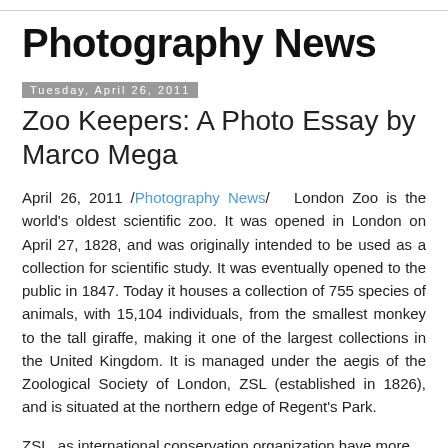Photography News
Photography News
Tuesday, April 26, 2011
Zoo Keepers: A Photo Essay by Marco Mega
April 26, 2011 /Photography News/  London Zoo is the world's oldest scientific zoo. It was opened in London on April 27, 1828, and was originally intended to be used as a collection for scientific study. It was eventually opened to the public in 1847. Today it houses a collection of 755 species of animals, with 15,104 individuals, from the smallest monkey to the tall giraffe, making it one of the largest collections in the United Kingdom. It is managed under the aegis of the Zoological Society of London, ZSL (established in 1826), and is situated at the northern edge of Regent's Park.
ZSL, as international conservation organization have more